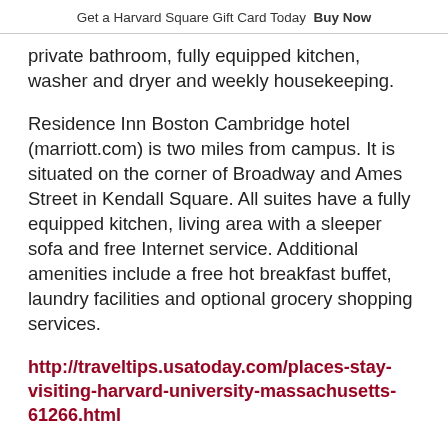Get a Harvard Square Gift Card Today  Buy Now
private bathroom, fully equipped kitchen, washer and dryer and weekly housekeeping.
Residence Inn Boston Cambridge hotel (marriott.com) is two miles from campus. It is situated on the corner of Broadway and Ames Street in Kendall Square. All suites have a fully equipped kitchen, living area with a sleeper sofa and free Internet service. Additional amenities include a free hot breakfast buffet, laundry facilities and optional grocery shopping services.
http://traveltips.usatoday.com/places-stay-visiting-harvard-university-massachusetts-61266.html